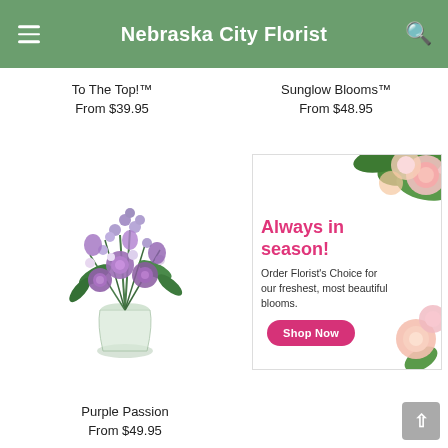Nebraska City Florist
To The Top!™
From $39.95
Sunglow Blooms™
From $48.95
[Figure (photo): Purple passion flower bouquet in a glass vase with purple roses, lavender, lisianthus, and mixed purple blooms]
[Figure (infographic): Promotional banner ad with pink and white flowers. Text reads: Always in season! Order Florist's Choice for our freshest, most beautiful blooms. With a pink Shop Now button.]
Purple Passion
From $49.95